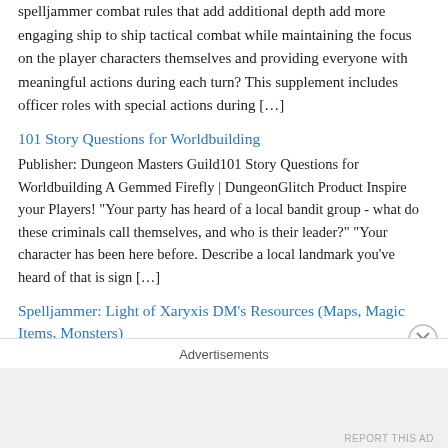spelljammer combat rules that add additional depth add more engaging ship to ship tactical combat while maintaining the focus on the player characters themselves and providing everyone with meaningful actions during each turn? This supplement includes officer roles with special actions during […]
101 Story Questions for Worldbuilding
Publisher: Dungeon Masters Guild101 Story Questions for Worldbuilding A Gemmed Firefly | DungeonGlitch Product Inspire your Players! "Your party has heard of a local bandit group - what do these criminals call themselves, and who is their leader?" "Your character has been here before. Describe a local landmark you've heard of that is sign […]
Spelljammer: Light of Xaryxis DM's Resources (Maps, Magic Items, Monsters)
Publisher: Dungeon Masters Guild Maps, magic items, and enhanced monsters for Spelljammer: Light of Xaryxis! In this compendium, DMs
Advertisements